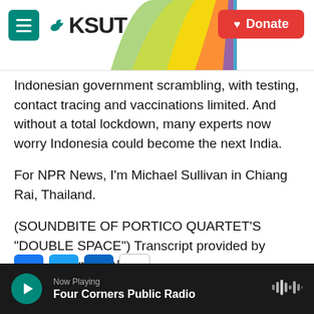KSUT — Donate
Indonesian government scrambling, with testing, contact tracing and vaccinations limited. And without a total lockdown, many experts now worry Indonesia could become the next India.
For NPR News, I'm Michael Sullivan in Chiang Rai, Thailand.
(SOUNDBITE OF PORTICO QUARTET'S "DOUBLE SPACE") Transcript provided by NPR, Copyright NPR.
Now Playing — Four Corners Public Radio